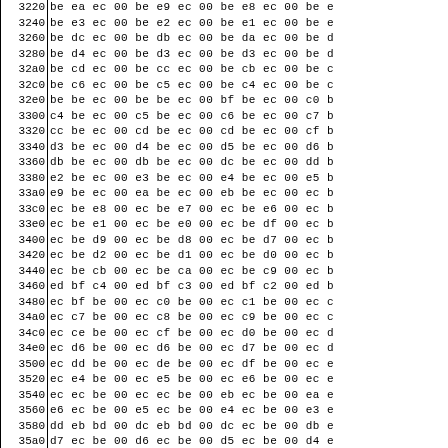| Address | Data |
| --- | --- |
| 3220 | be ea ec 00 be e9 ec 00 be e8 ec 00 be e |
| 3240 | be e3 ec 00 be e2 ec 00 be e1 ec 00 be e |
| 3260 | be dc ec 00 be db ec 00 be da ec 00 be d |
| 3280 | be d4 ec 00 be d3 ec 00 be d3 ec 00 be d |
| 32a0 | be cd ec 00 be cc ec 00 be cb ec 00 be c |
| 32c0 | be c6 ec 00 be c5 ec 00 be c4 ec 00 be c |
| 32e0 | be be ec 00 be be ec 00 bf be ec 00 c0 b |
| 3300 | c4 be ec 00 c5 be ec 00 c6 be ec 00 c7 b |
| 3320 | cc be ec 00 cd be ec 00 cd be ec 00 cf b |
| 3340 | d3 be ec 00 d4 be ec 00 d5 be ec 00 d6 b |
| 3360 | db be ec 00 db be ec 00 dc be ec 00 dd b |
| 3380 | e2 be ec 00 e3 be ec 00 e4 be ec 00 e5 b |
| 33a0 | e9 be ec 00 ea be ec 00 eb be ec 00 ec b |
| 33c0 | ec be e8 00 ec be e7 00 ec be e6 00 ec b |
| 33e0 | ec be e1 00 ec be e0 00 ec be df 00 ec b |
| 3400 | ec be d9 00 ec be d8 00 ec be d7 00 ec b |
| 3420 | ec be d2 00 ec be d1 00 ec be d0 00 ec b |
| 3440 | ec be cb 00 ec be ca 00 ec be c9 00 ec b |
| 3460 | ed bf c4 00 ed bf c3 00 ed bf c2 00 ed b |
| 3480 | ec bf be 00 ec c0 be 00 ec c1 be 00 ec c |
| 34a0 | ec c7 be 00 ec c8 be 00 ec c9 be 00 ec c |
| 34c0 | ec ce be 00 ec cf be 00 ec d0 be 00 ec d |
| 34e0 | ec d6 be 00 ec d6 be 00 ec d7 be 00 ec d |
| 3500 | ec dd be 00 ec de be 00 ec df be 00 ec e |
| 3520 | ec e4 be 00 ec e5 be 00 ec e6 be 00 ec e |
| 3540 | ec ec be 00 ec ec be 00 eb ec be 00 ea e |
| 3560 | e6 ec be 00 e5 ec be 00 e4 ec be 00 e3 e |
| 3580 | dd eb bd 00 dc eb bd 00 dc ec be 00 db e |
| 35a0 | d7 ec be 00 d6 ec be 00 d5 ec be 00 d4 e |
| 35c0 | cf ec be 00 ce ec be 00 cd ec be 00 cd e |